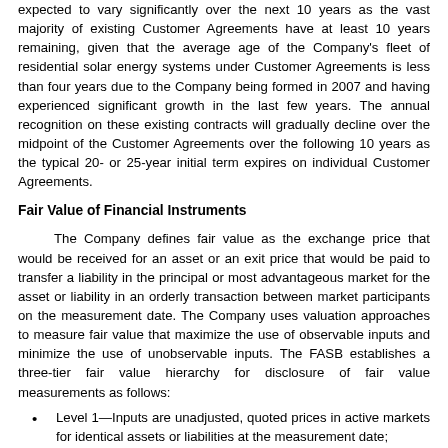expected to vary significantly over the next 10 years as the vast majority of existing Customer Agreements have at least 10 years remaining, given that the average age of the Company's fleet of residential solar energy systems under Customer Agreements is less than four years due to the Company being formed in 2007 and having experienced significant growth in the last few years. The annual recognition on these existing contracts will gradually decline over the midpoint of the Customer Agreements over the following 10 years as the typical 20- or 25-year initial term expires on individual Customer Agreements.
Fair Value of Financial Instruments
The Company defines fair value as the exchange price that would be received for an asset or an exit price that would be paid to transfer a liability in the principal or most advantageous market for the asset or liability in an orderly transaction between market participants on the measurement date. The Company uses valuation approaches to measure fair value that maximize the use of observable inputs and minimize the use of unobservable inputs. The FASB establishes a three-tier fair value hierarchy for disclosure of fair value measurements as follows:
Level 1—Inputs are unadjusted, quoted prices in active markets for identical assets or liabilities at the measurement date;
Level 2—Inputs are observable, unadjusted quoted prices in active markets for similar assets or liabilities, unadjusted quoted prices for identical or similar assets or liabilities in markets that are not active, or other inputs that are observable or can be